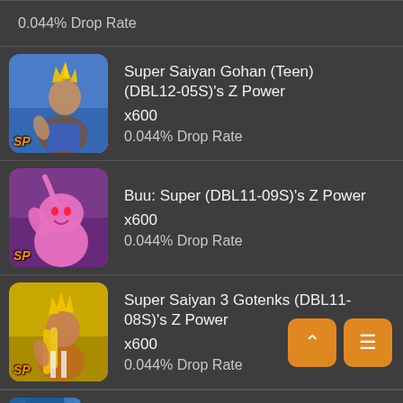0.044% Drop Rate
[Figure (illustration): Super Saiyan Gohan (Teen) character card with SP badge on blue background]
Super Saiyan Gohan (Teen) (DBL12-05S)'s Z Power x600 0.044% Drop Rate
[Figure (illustration): Buu: Super character card with SP badge on purple background]
Buu: Super (DBL11-09S)'s Z Power x600 0.044% Drop Rate
[Figure (illustration): Super Saiyan 3 Gotenks character card with SP badge on yellow background]
Super Saiyan 3 Gotenks (DBL11-08S)'s Z Power x600 0.044% Drop Rate
[Figure (illustration): Hyper Meta-Rilldo partial character card on blue background, partially cut off at bottom]
Hyper Meta-Rilldo (DBL11-04S)'s Z